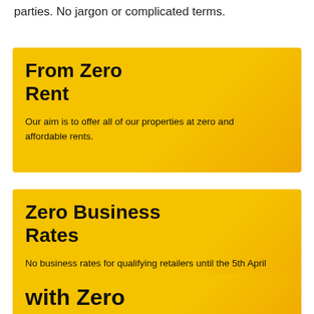parties. No jargon or complicated terms.
From Zero Rent
Our aim is to offer all of our properties at zero and affordable rents.
Zero Business Rates
No business rates for qualifying retailers until the 5th April 2021.
with Zero